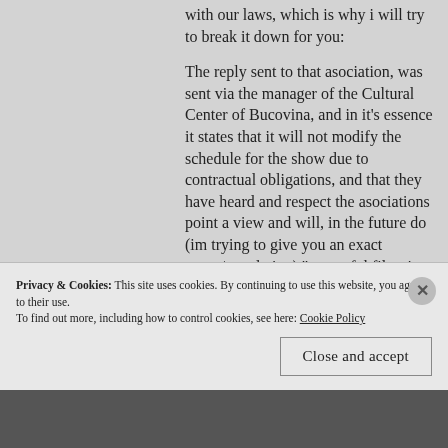with our laws, which is why i will try to break it down for you:
The reply sent to that asociation, was sent via the manager of the Cultural Center of Bucovina, and in it's essence it states that it will not modify the schedule for the show due to contractual obligations, and that they have heard and respect the asociations point a view and will, in the future do (im trying to give you an exact quote/translation) " a careful filtration for bands that will perform in this project (festival), without bringing slight to the christian orthodox values of the romanian people".
Privacy & Cookies: This site uses cookies. By continuing to use this website, you agree to their use.
To find out more, including how to control cookies, see here: Cookie Policy
Close and accept